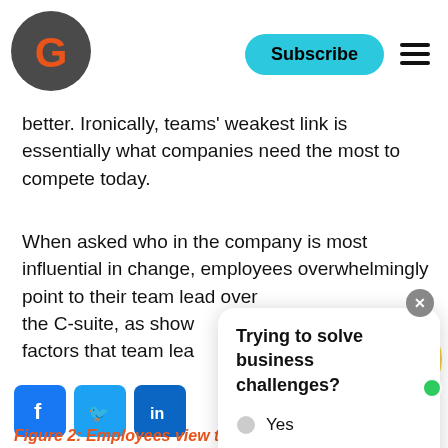Subscribe
better. Ironically, teams' weakest link is essentially what companies need the most to compete today.
When asked who in the company is most influential in change, employees overwhelmingly point to their team lead over the C-suite, as shown by factors that team leads embracing change and continuous growth last, which suggests that the recognized change champion is not prior
Trying to solve business challenges?
Yes
Not yet. I'm looking for career info
Figure 2: Employees view team leads as